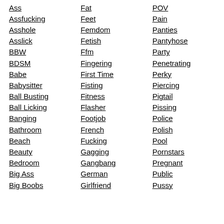Ass
Assfucking
Asshole
Asslick
BBW
BDSM
Babe
Babysitter
Ball Busting
Ball Licking
Banging
Bathroom
Beach
Beauty
Bedroom
Big Ass
Big Boobs
Fat
Feet
Femdom
Fetish
Ffm
Fingering
First Time
Fisting
Fitness
Flasher
Footjob
French
Fucking
Gagging
Gangbang
German
Girlfriend
POV
Pain
Panties
Pantyhose
Party
Penetrating
Perky
Piercing
Pigtail
Pissing
Police
Polish
Pool
Pornstars
Pregnant
Public
Pussy